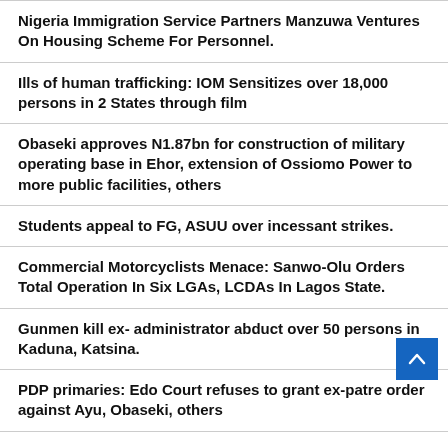Nigeria Immigration Service Partners Manzuwa Ventures On Housing Scheme For Personnel.
Ills of human trafficking: IOM Sensitizes over 18,000 persons in 2 States through film
Obaseki approves N1.87bn for construction of military operating base in Ehor, extension of Ossiomo Power to more public facilities, others
Students appeal to FG, ASUU over incessant strikes.
Commercial Motorcyclists Menace: Sanwo-Olu Orders Total Operation In Six LGAs, LCDAs In Lagos State.
Gunmen kill ex- administrator abduct over 50 persons in Kaduna, Katsina.
PDP primaries: Edo Court refuses to grant ex-patre order against Ayu, Obaseki, others